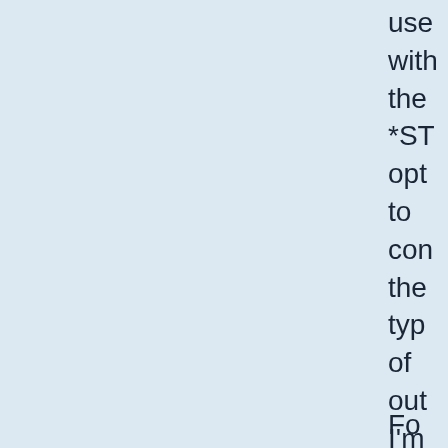use with the *ST opt to con the typ of out I'm thin of the foll opt for OU
Fo